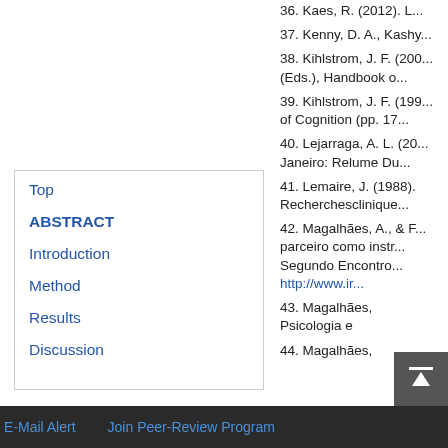36. Kaes, R. (2012). L...
37. Kenny, D. A., Kashy...
38. Kihlstrom, J. F. (200... (Eds.), Handbook o...
39. Kihlstrom, J. F. (199... of Cognition (pp. 17...
40. Lejarraga, A. L. (20... Janeiro: Relume Du...
41. Lemaire, J. (1988). Recherchesclinique...
42. Magalhães, A., & F... parceiro como instr... Segundo Encontro... http://www.ir...
43. Magalhães, ... Psicologia e
44. Magalhães,
Top
ABSTRACT
Introduction
Method
Results
Discussion
E-Mail Alert    Join Peer-Review Program